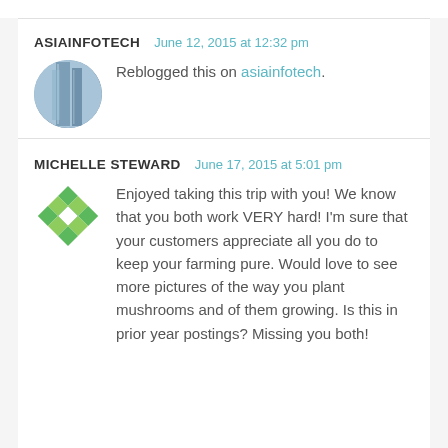ASIAINFOTECH   June 12, 2015 at 12:32 pm
Reblogged this on asiainfotech.
MICHELLE STEWARD   June 17, 2015 at 5:01 pm
Enjoyed taking this trip with you! We know that you both work VERY hard! I'm sure that your customers appreciate all you do to keep your farming pure. Would love to see more pictures of the way you plant mushrooms and of them growing. Is this in prior year postings? Missing you both!